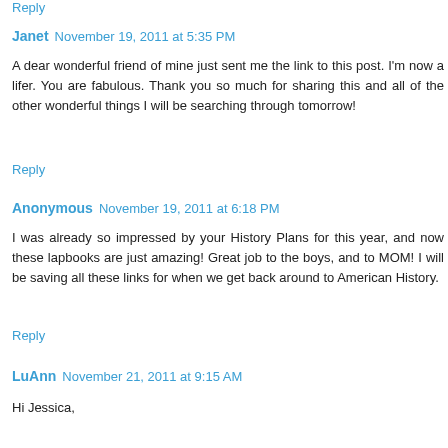Reply
Janet  November 19, 2011 at 5:35 PM
A dear wonderful friend of mine just sent me the link to this post. I'm now a lifer. You are fabulous. Thank you so much for sharing this and all of the other wonderful things I will be searching through tomorrow!
Reply
Anonymous  November 19, 2011 at 6:18 PM
I was already so impressed by your History Plans for this year, and now these lapbooks are just amazing! Great job to the boys, and to MOM! I will be saving all these links for when we get back around to American History.
Reply
LuAnn  November 21, 2011 at 9:15 AM
Hi Jessica,